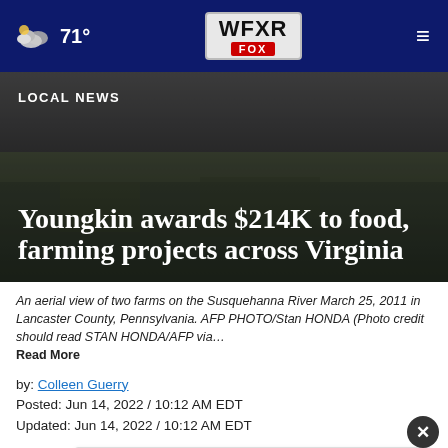71° WFXR FOX
[Figure (photo): Dark aerial farm photo used as hero background image]
LOCAL NEWS
Youngkin awards $214K to food, farming projects across Virginia
An aerial view of two farms on the Susquehanna River March 25, 2011 in Lancaster County, Pennsylvania. AFP PHOTO/Stan HONDA (Photo credit should read STAN HONDA/AFP via… Read More
by: Colleen Guerry
Posted: Jun 14, 2022 / 10:12 AM EDT
Updated: Jun 14, 2022 / 10:12 AM EDT
SHARE
[Figure (infographic): Advertisement banner: HC logo with text 'View store hours, get directions, or call your salon!' and blue arrow icon]